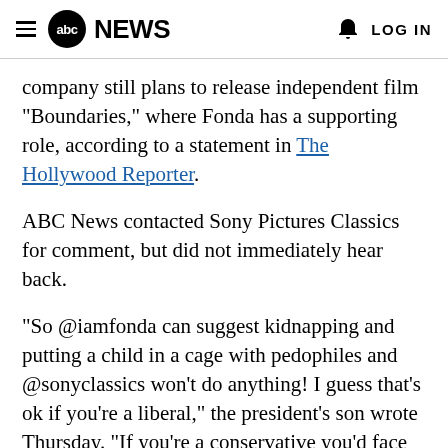abc NEWS  LOG IN
company still plans to release independent film "Boundaries," where Fonda has a supporting role, according to a statement in The Hollywood Reporter.
ABC News contacted Sony Pictures Classics for comment, but did not immediately hear back.
"So @iamfonda can suggest kidnapping and putting a child in a cage with pedophiles and @sonyclassics won’t do anything! I guess that’s ok if you’re a liberal," the president's son wrote Thursday. "If you’re a conservative you’d face real consequences. Great work